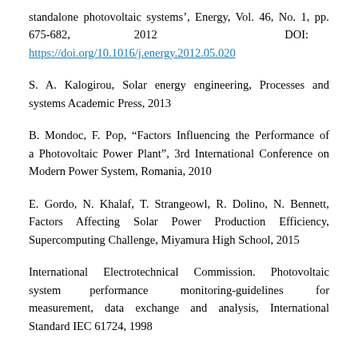standalone photovoltaic systems’, Energy, Vol. 46, No. 1, pp. 675-682, 2012 DOI: https://doi.org/10.1016/j.energy.2012.05.020
S. A. Kalogirou, Solar energy engineering, Processes and systems Academic Press, 2013
B. Mondoc, F. Pop, “Factors Influencing the Performance of a Photovoltaic Power Plant”, 3rd International Conference on Modern Power System, Romania, 2010
E. Gordo, N. Khalaf, T. Strangeowl, R. Dolino, N. Bennett, Factors Affecting Solar Power Production Efficiency, Supercomputing Challenge, Miyamura High School, 2015
International Electrotechnical Commission. Photovoltaic system performance monitoring-guidelines for measurement, data exchange and analysis, International Standard IEC 61724, 1998